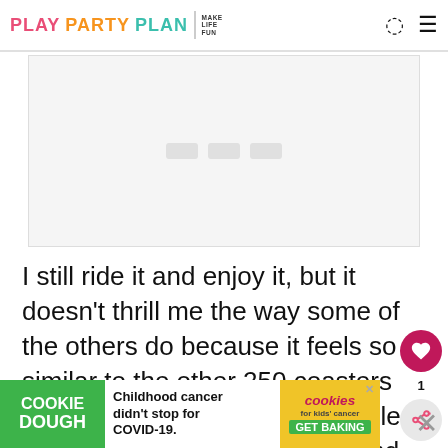PLAY PARTY PLAN | MAKE LIFE FUN
[Figure (other): Placeholder image area with light gray background]
I still ride it and enjoy it, but it doesn't thrill me the way some of the others do because it feels so similar to the other 250 coasters I've been on in my life. The coolest parts of it are the seven loops and the coaster riding over th...
[Figure (other): Advertisement banner: COOKIE DOUGH - Childhood cancer didn't stop for COVID-19. cookies for kids' cancer GET BAKING]